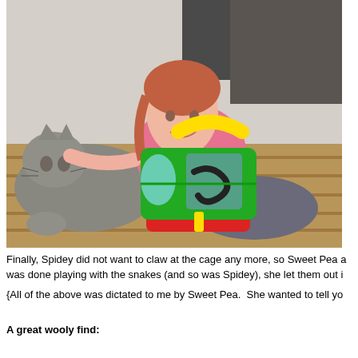[Figure (photo): A young girl with reddish-brown hair smiling and lying next to a gray tabby cat on a wooden deck. In the foreground is a colorful toy bug catcher/container (green, yellow, and red) with what appears to be snakes inside it.]
Finally, Spidey did not want to claw at the cage any more, so Sweet Pea a was done playing with the snakes (and so was Spidey), she let them out i
{All of the above was dictated to me by Sweet Pea.  She wanted to tell yo
A great wooly find: